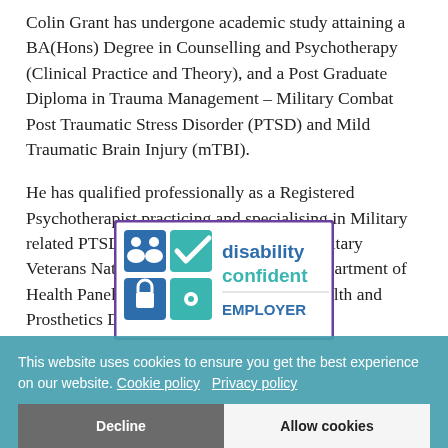Colin Grant has undergone academic study attaining a BA(Hons) Degree in Counselling and Psychotherapy (Clinical Practice and Theory), and a Post Graduate Diploma in Trauma Management – Military Combat Post Traumatic Stress Disorder (PTSD) and Mild Traumatic Brain Injury (mTBI).
He has qualified professionally as a Registered Psychotherapist practicing and specialising in Military related PTSD. And has represented UK Military Veterans Nationally, at senior NHS and Department of Health Panels for both Veterans Mental Health and Prosthetics Direction Boards.
[Figure (logo): Disability Confident Employer logo — purple bordered box containing colourful icons and the text 'disability confident' and 'EMPLOYER']
This website uses cookies to ensure you get the best experience on our website. Cookie policy   Privacy policy